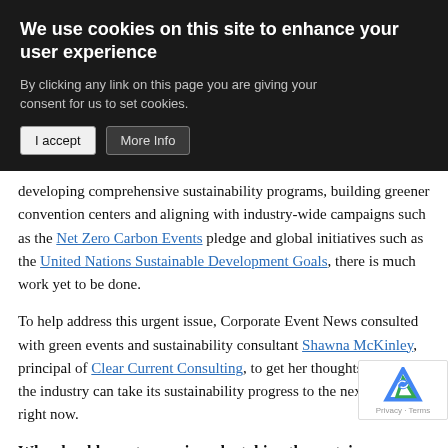We use cookies on this site to enhance your user experience
By clicking any link on this page you are giving your consent for us to set cookies.
developing comprehensive sustainability programs, building greener convention centers and aligning with industry-wide campaigns such as the Net Zero Carbon Events pledge and global initiatives such as the United Nations Sustainable Development Goals, there is much work yet to be done.
To help address this urgent issue, Corporate Event News consulted with green events and sustainability consultant Shawna McKinley, principal of Clear Current Consulting, to get her thoughts on how the industry can take its sustainability progress to the next level—right now.
Why should event organizers be taking the sustainability movement more seriously, and why is making meaningful changes now so crucial for our industry's survival?